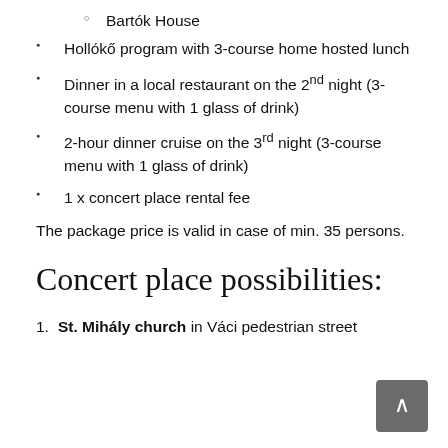Bartók House
Hollókő program with 3-course home hosted lunch
Dinner in a local restaurant on the 2nd night (3-course menu with 1 glass of drink)
2-hour dinner cruise on the 3rd night (3-course menu with 1 glass of drink)
1 x concert place rental fee
The package price is valid in case of min. 35 persons.
Concert place possibilities:
1. St. Mihály church in Váci pedestrian street